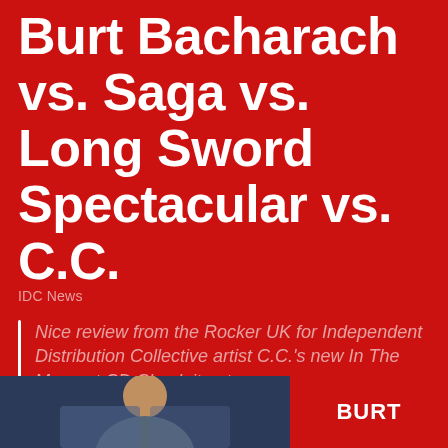Burt Bacharach vs. Saga vs. Long Sword Spectacular vs. C.C.
IDC News
Nice review from the Rocker UK for Independent Distribution Collective artist C.C.'s new In The Moment CD Check it out:
The Rocker
Reviews roundup – Burt Bacharach vs. Saga vs. Long Sword Spectacular vs. C.C.
BURT
[Figure (photo): Bottom strip showing a photo of a person on the left half and the word BURT on the right half against a red background]